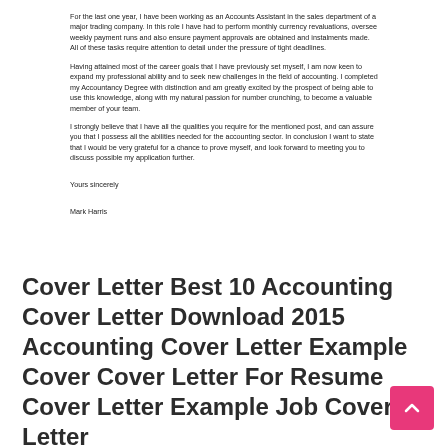For the last one year, I have been working as an Accounts Assistant in the sales department of a major trading company. In this role I have had to perform monthly currency revaluations, oversee weekly payment runs and also ensure payment approvals are obtained and instalments made. All of these tasks require attention to detail under the pressure of tight deadlines.
Having attained most of the career goals that I have previously set myself, I am now keen to expand my professional ability and to seek new challenges in the field of accounting. I completed my Accountancy Degree with distinction and am greatly excited by the prospect of being able to use this knowledge, along with my natural passion for number crunching, to become a valuable member of your team.
I strongly believe that I have all the qualities you require for the mentioned post, and can assure you that I possess all the abilities needed for the accounting sector. In conclusion I want to state that I would be very grateful for a chance to prove myself, and look forward to meeting you to discuss possible my application further.
Yours sincerely
Mark Harris
Cover Letter Best 10 Accounting Cover Letter Download 2015 Accounting Cover Letter Example Cover Cover Letter For Resume Cover Letter Example Job Cover Letter